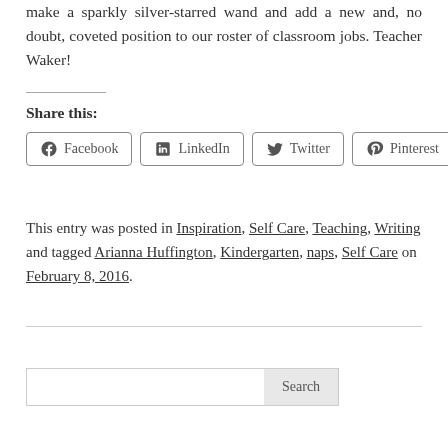make a sparkly silver-starred wand and add a new and, no doubt, coveted position to our roster of classroom jobs. Teacher Waker!
Share this:
[Figure (other): Social share buttons: Facebook, LinkedIn, Twitter, Pinterest]
This entry was posted in Inspiration, Self Care, Teaching, Writing and tagged Arianna Huffington, Kindergarten, naps, Self Care on February 8, 2016.